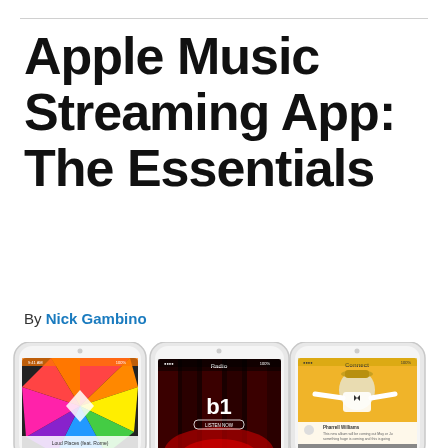Apple Music Streaming App: The Essentials
By Nick Gambino
[Figure (photo): Three iPhone screens showing Apple Music app interfaces: a colorful album art screen, a Beats 1 Radio screen, and a Connect screen featuring Pharrell Williams.]